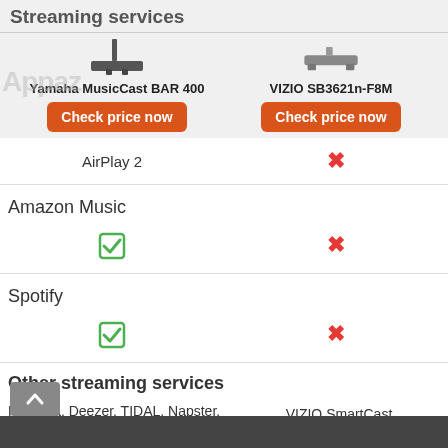Streaming services
[Figure (other): Product images: Yamaha MusicCast BAR 400 soundbar (left) and VIZIO SB3621n-F8M soundbar (right)]
Yamaha MusicCast BAR 400
VIZIO SB3621n-F8M
Check price now (Yamaha)
Check price now (VIZIO)
| Feature | Yamaha MusicCast BAR 400 | VIZIO SB3621n-F8M |
| --- | --- | --- |
| AirPlay 2 | AirPlay 2 | ✗ |
| Amazon Music | ✓ | ✗ |
| Spotify | ✓ | ✗ |
Other streaming services
Pandora, Deezer, TIDAL, Napster, SiriusXM, Qobuz
VIZIO SmartCast